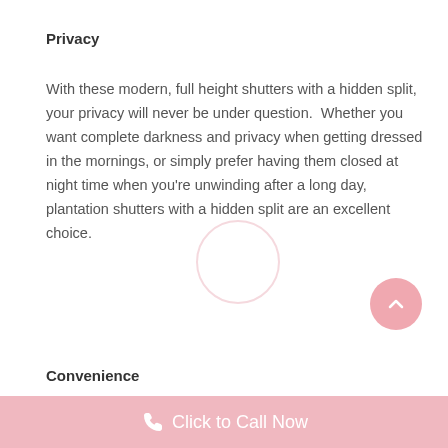Privacy
With these modern, full height shutters with a hidden split, your privacy will never be under question.  Whether you want complete darkness and privacy when getting dressed in the mornings, or simply prefer having them closed at night time when you're unwinding after a long day, plantation shutters with a hidden split are an excellent choice.
Convenience
Click to Call Now